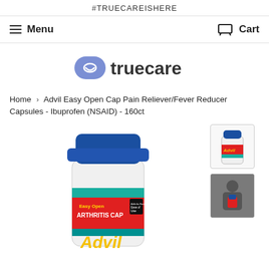#TRUECAREISHERE
Menu   Cart
[Figure (logo): Truecare logo with blue pill-shaped icon and text 'truecare' in dark gray]
Home › Advil Easy Open Cap Pain Reliever/Fever Reducer Capsules - Ibuprofen (NSAID) - 160ct
[Figure (photo): Advil Easy Open Arthritis Cap pain reliever bottle, white with blue cap, showing red Easy Open Arthritis Cap label and Advil branding. Large center product image.]
[Figure (photo): Thumbnail of Advil Easy Open Cap bottle, smaller view]
[Figure (photo): Thumbnail showing person holding/using product]